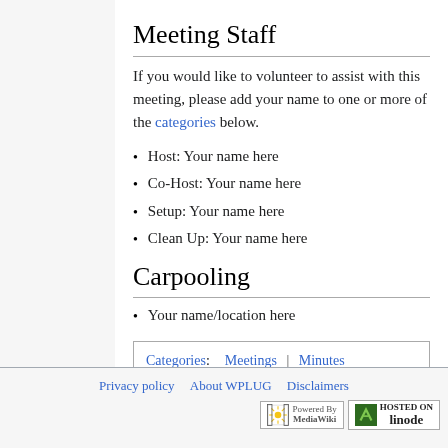Meeting Staff
If you would like to volunteer to assist with this meeting, please add your name to one or more of the categories below.
Host: Your name here
Co-Host: Your name here
Setup: Your name here
Clean Up: Your name here
Carpooling
Your name/location here
| Categories: | Meetings | | | Minutes |
Privacy policy   About WPLUG   Disclaimers